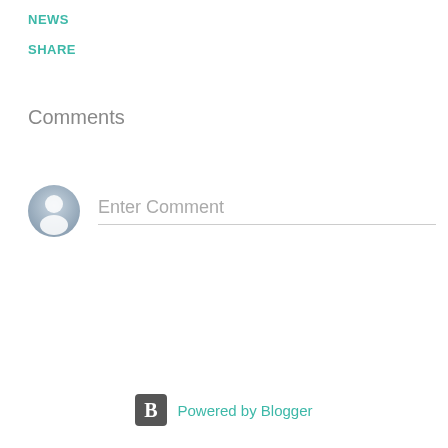NEWS
SHARE
Comments
[Figure (other): Default user avatar icon (grey silhouette in a circle) next to an 'Enter Comment' placeholder text input field with a bottom border]
Powered by Blogger